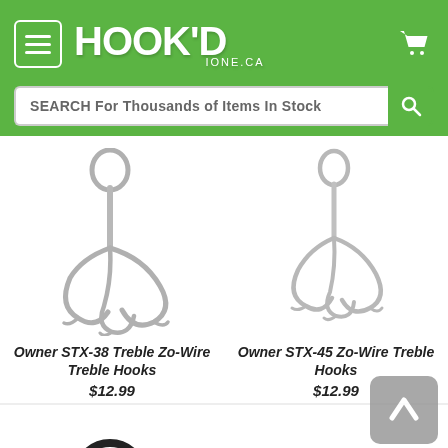HOOK'D IONE.CA
SEARCH For Thousands of Items In Stock
[Figure (photo): Product photo of Owner STX-38 Treble Zo-Wire Treble Hooks — silver treble hook on white background]
Owner STX-38 Treble Zo-Wire Wire Treble Hooks
$12.99
[Figure (photo): Product photo of Owner STX-45 Zo-Wire Treble Hooks — silver treble hook on white background]
Owner STX-45 Zo-Wire Treble Hooks
$12.99